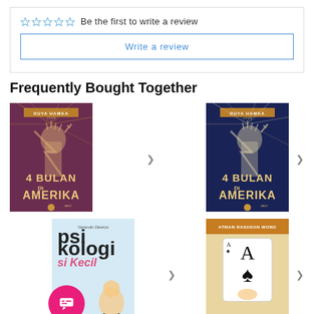Be the first to write a review
Write a review
Frequently Bought Together
[Figure (photo): Book cover: 4 Bulan Di Amerika Jilid 2, dark red/maroon background with Statue of Liberty illustration]
[Figure (photo): Book cover: 4 Bulan Di Amerika Jilid 1, dark navy background with Statue of Liberty illustration]
[Figure (photo): Book cover: Psikologi si Kecil, light blue background with illustrated character]
[Figure (photo): Book cover: Atman Rashdan Wong, beige/orange background with playing card illustration]